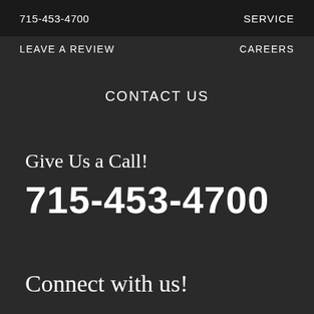715-453-4700   SERVICE
LEAVE A REVIEW   CAREERS
CONTACT US
Give Us a Call!
715-453-4700
Connect with us!